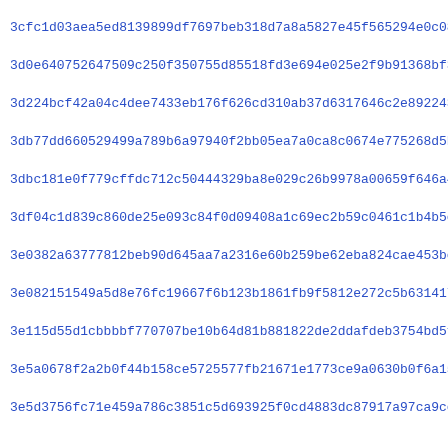3cfc1d03aea5ed8139899df7697beb318d7a8a5827e45f565294e0c0834133
3d0e640752647509c250f350755d85518fd3e694e025e2f9b91368bf3e508
3d224bcf42a04c4dee7433eb176f626cd310ab37d6317646c2e892243fc9d
3db77dd660529499a789b6a97940f2bb05ea7a0ca8c0674e775268d5b9e91
3dbc181e0f779cffdc712c50444329ba8e029c26b9978a00659f646a4c7e6
3df04c1d839c860de25e093c84f0d09408a1c69ec2b59c0461c1b4b5ed3d4
3e0382a63777812beb90d645aa7a2316e60b259be62eba824cae453bc759d
3e082151549a5d8e76fc19667f6b123b1861fb9f5812e272c5b63141715b6
3e115d55d1cbbbbf770707be10b64d81b881822de2ddafdeb3754bd5f145d
3e5a0678f2a2b0f44b158ce5725577fb21671e1773ce9a0630b0f6a15b349
3e5d3756fc71e459a786c3851c5d693925f0cd4883dc87917a97ca9ce8e25